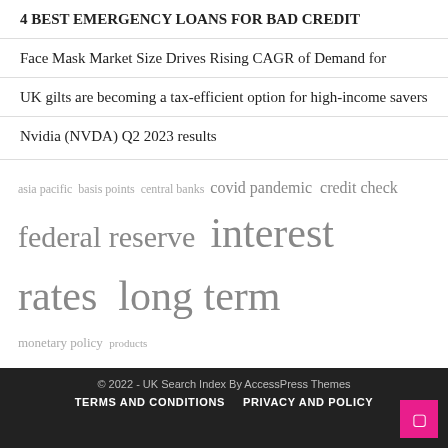4 BEST EMERGENCY LOANS FOR BAD CREDIT
Face Mask Market Size Drives Rising CAGR of Demand for
UK gilts are becoming a tax-efficient option for high-income savers
Nvidia (NVDA) Q2 2023 results
[Figure (infographic): Tag cloud with finance-related terms in varying sizes: asia pacific, basis points, central banks, covid pandemic (larger), credit check (larger), federal reserve (large), interest rates (large), long term (large), monetary policy, products services, quantitative easing (very large), real estate, short term (medium-large), united states (very large), wall street]
© 2022 - UK Search Index By AccessPress Themes
TERMS AND CONDITIONS   PRIVACY AND POLICY